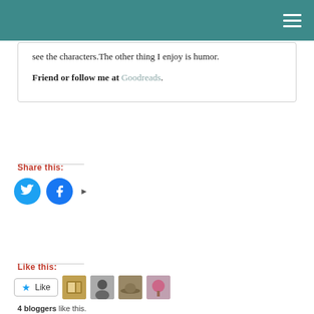see the characters.The other thing I enjoy is humor.
Friend or follow me at Goodreads.
Share this:
[Figure (other): Twitter and Facebook share buttons with arrow]
Like this:
[Figure (other): Like button with 4 blogger avatars]
4 bloggers like this.
Related Posts
Green Mountain Series
By Marie Force